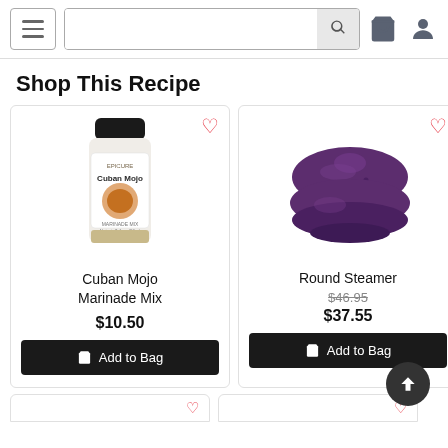Navigation header with hamburger menu, search bar, bag icon, and user icon
Shop This Recipe
[Figure (photo): Epicure Cuban Mojo Marinade Mix spice jar with black lid]
Cuban Mojo Marinade Mix
$10.50
[Figure (photo): Purple round silicone steamer with lid]
Round Steamer
$46.95 $37.55